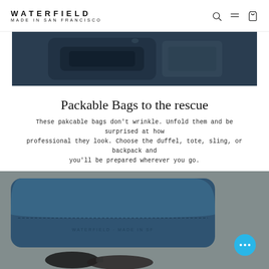WATERFIELD MADE IN SAN FRANCISCO
[Figure (photo): Dark navy blue luggage/bag photographed in a vehicle interior, showing zipper pocket detail]
Packable Bags to the rescue
These pakcable bags don't wrinkle. Unfold them and be surprised at how professional they look. Choose the duffel, tote, sling, or backpack and you'll be prepared wherever you go.
TRY ONE
[Figure (photo): Blue leather wallet/case with WATERFIELD MADE IN SF embossing, displayed with sunglasses on a surface]